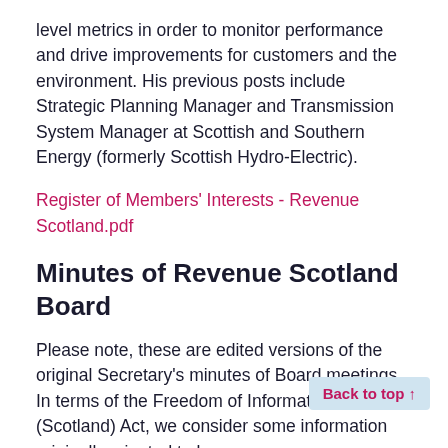level metrics in order to monitor performance and drive improvements for customers and the environment. His previous posts include Strategic Planning Manager and Transmission System Manager at Scottish and Southern Energy (formerly Scottish Hydro-Electric).
Register of Members' Interests - Revenue Scotland.pdf
Minutes of Revenue Scotland Board
Please note, these are edited versions of the original Secretary's minutes of Board meetings. In terms of the Freedom of Information (Scotland) Act, we consider some information originally minuted to be